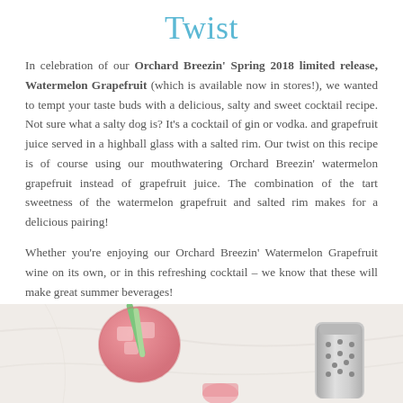Twist
In celebration of our Orchard Breezin’ Spring 2018 limited release, Watermelon Grapefruit (which is available now in stores!), we wanted to tempt your taste buds with a delicious, salty and sweet cocktail recipe. Not sure what a salty dog is? It’s a cocktail of gin or vodka. and grapefruit juice served in a highball glass with a salted rim. Our twist on this recipe is of course using our mouthwatering Orchard Breezin’ watermelon grapefruit instead of grapefruit juice. The combination of the tart sweetness of the watermelon grapefruit and salted rim makes for a delicious pairing!
Whether you’re enjoying our Orchard Breezin’ Watermelon Grapefruit wine on its own, or in this refreshing cocktail – we know that these will make great summer beverages!
[Figure (photo): Cocktail photo showing pink watermelon grapefruit drinks on a light marble surface with garnishes and a cocktail shaker]